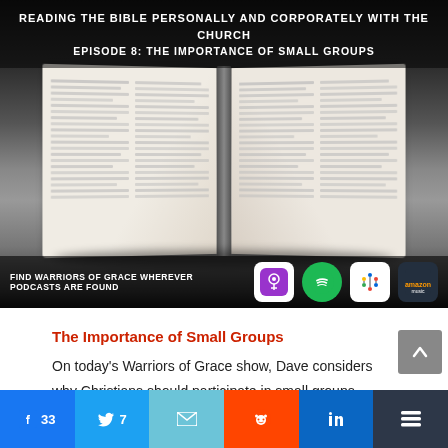[Figure (photo): Podcast episode cover image for Warriors of Grace, Episode 8: The Importance of Small Groups. Shows an open Bible on a dark wooden surface with text overlay at top and podcast platform icons at bottom.]
The Importance of Small Groups
On today's Warriors of Grace show, Dave considers why Christians should participate in small groups, Hebrews 10:19-25 and the Christian life, the importance of biblical context, and sermon review in
Facebook 33 | Twitter 7 | Email | Reddit | LinkedIn | Share